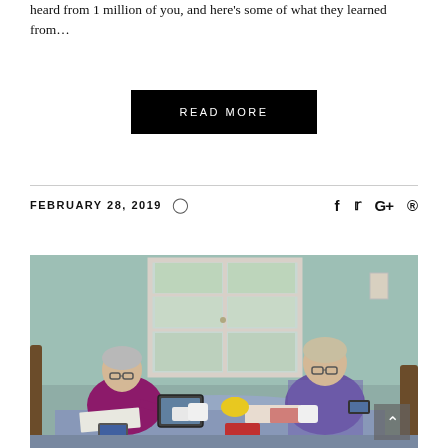heard from 1 million of you, and here's some of what they learned from…
READ MORE
FEBRUARY 28, 2019
[Figure (photo): Two older women sitting at a round table with a blue tablecloth, looking at a tablet and phone respectively, with papers, mugs, and a yellow teapot on the table. Glass French doors with garden visible in background.]